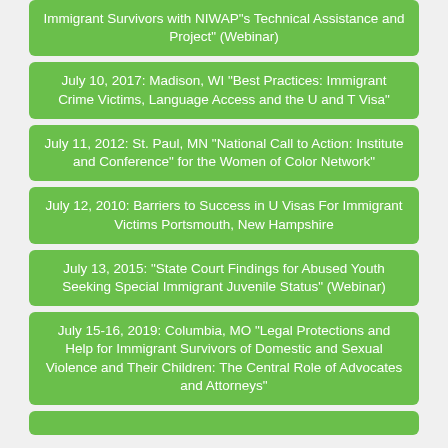Immigrant Survivors with NIWAP"s Technical Assistance and Project" (Webinar)
July 10, 2017: Madison, WI "Best Practices: Immigrant Crime Victims, Language Access and the U and T Visa"
July 11, 2012: St. Paul, MN "National Call to Action: Institute and Conference" for the Women of Color Network"
July 12, 2010: Barriers to Success in U Visas For Immigrant Victims Portsmouth, New Hampshire
July 13, 2015: "State Court Findings for Abused Youth Seeking Special Immigrant Juvenile Status" (Webinar)
July 15-16, 2019: Columbia, MO "Legal Protections and Help for Immigrant Survivors of Domestic and Sexual Violence and Their Children: The Central Role of Advocates and Attorneys"